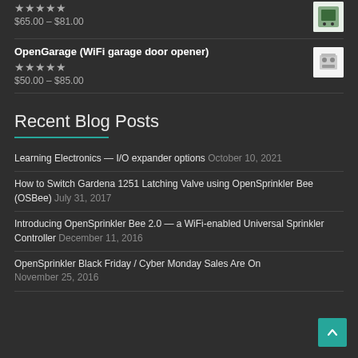$65.00 – $81.00
OpenGarage (WiFi garage door opener) $50.00 – $85.00
Recent Blog Posts
Learning Electronics — I/O expander options October 10, 2021
How to Switch Gardena 1251 Latching Valve using OpenSprinkler Bee (OSBee) July 31, 2017
Introducing OpenSprinkler Bee 2.0 — a WiFi-enabled Universal Sprinkler Controller December 11, 2016
OpenSprinkler Black Friday / Cyber Monday Sales Are On November 25, 2016